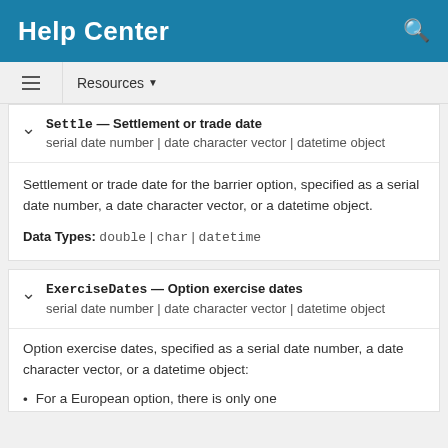Help Center
Resources
Settle — Settlement or trade date
serial date number | date character vector | datetime object
Settlement or trade date for the barrier option, specified as a serial date number, a date character vector, or a datetime object.
Data Types: double | char | datetime
ExerciseDates — Option exercise dates
serial date number | date character vector | datetime object
Option exercise dates, specified as a serial date number, a date character vector, or a datetime object:
For a European option, there is only one